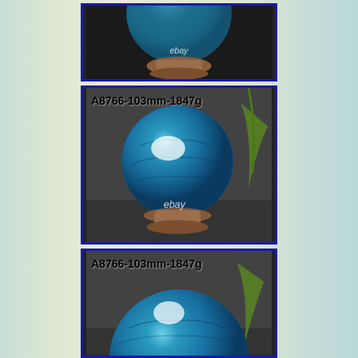[Figure (photo): Top portion of a blue apatite crystal sphere on a wooden stand, with dark background, eBay watermark visible]
[Figure (photo): Full view of blue apatite crystal sphere (103mm, 1847g) labeled A8766-103mm-1847g, on wooden stand, dark background with green plant, eBay watermark]
[Figure (photo): Close-up of blue apatite crystal sphere labeled A8766-103mm-1847g, partial view showing top of sphere, on dark background with green plant]